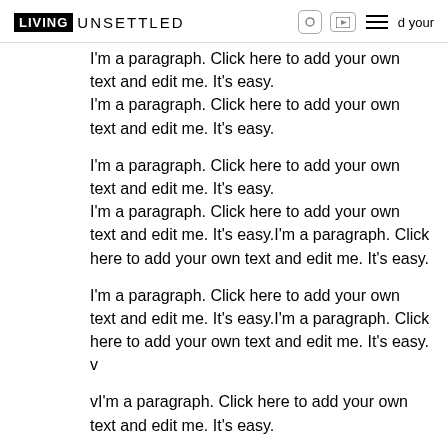LIVING UNSETTLED — navigation bar with icons and 'your'
I'm a paragraph. Click here to add your own text and edit me. It's easy.
I'm a paragraph. Click here to add your own text and edit me. It's easy.
I'm a paragraph. Click here to add your own text and edit me. It's easy.
I'm a paragraph. Click here to add your own text and edit me. It's easy.I'm a paragraph. Click here to add your own text and edit me. It's easy.
I'm a paragraph. Click here to add your own text and edit me. It's easy.I'm a paragraph. Click here to add your own text and edit me. It's easy.
v
vI'm a paragraph. Click here to add your own text and edit me. It's easy.